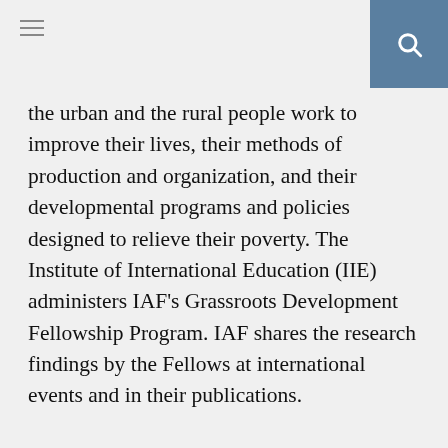the urban and the rural people work to improve their lives, their methods of production and organization, and their developmental programs and policies designed to relieve their poverty. The Institute of International Education (IIE) administers IAF's Grassroots Development Fellowship Program. IAF shares the research findings by the Fellows at international events and in their publications.
ADVERTISEMENT
03. Federal Government Grants for Women
04. 10 Best Grants for Women